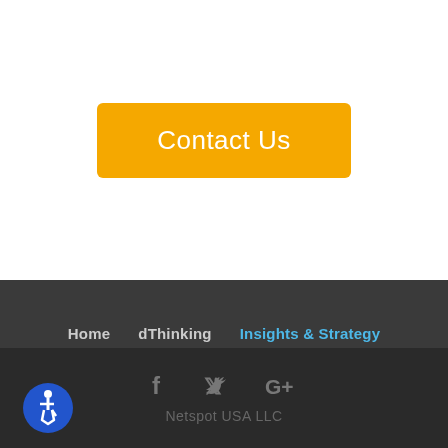Contact Us
Home
dThinking
Insights & Strategy
Marketing
Internal Communication
Contact
??
[Figure (logo): Social media icons: Facebook (f), Twitter (bird), Google+ (G+)]
Netspot USA LLC
[Figure (illustration): Accessibility icon: blue circle with wheelchair user symbol]